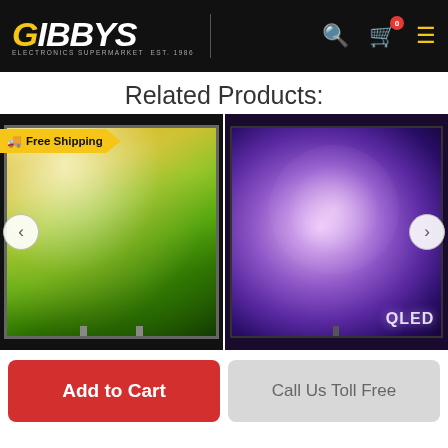GIBBYS — Electronics Supermarket
Related Products:
[Figure (photo): LG NanoCell TV product image with golden-green sparkle content on screen, with Free Shipping badge overlay]
[Figure (photo): Samsung QLED TV product image with purple/pink abstract content on screen, QLED logo visible]
Add to Cart
Call Us Toll Free